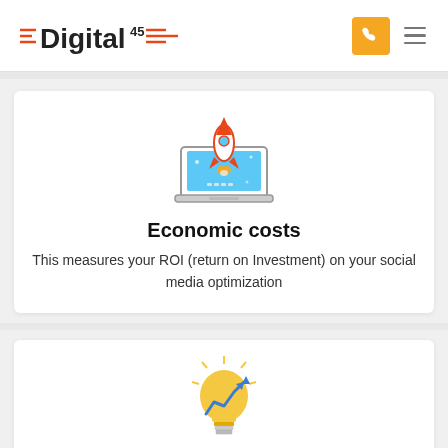Digital45 [logo with navigation icons]
[Figure (illustration): Laptop with a rocket launching out of the screen, colorful digital marketing icon]
Economic costs
This measures your ROI (return on Investment) on your social media optimization
[Figure (illustration): Light bulb with upward trending arrow graph inside, yellow innovation/growth icon]